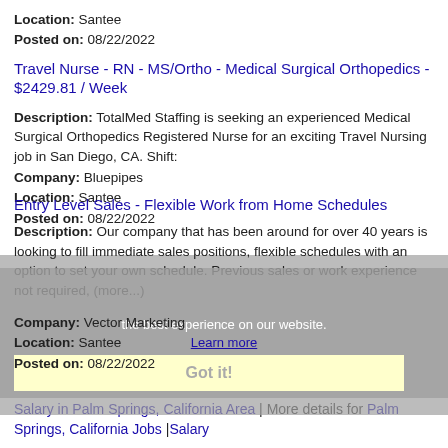Location: Santee
Posted on: 08/22/2022
Travel Nurse - RN - MS/Ortho - Medical Surgical Orthopedics - $2429.81 / Week
Description: TotalMed Staffing is seeking an experienced Medical Surgical Orthopedics Registered Nurse for an exciting Travel Nursing job in San Diego, CA. Shift:
Company: Bluepipes
Location: Santee
Posted on: 08/22/2022
Entry Level Sales - Flexible Work from Home Schedules
Description: Our company that has been around for over 40 years is looking to fill immediate sales positions, flexible schedules with an option to set your own schedule. Previous sales or work experience not required, (more...)
Company: Vector Marketing
Location: Santee
Posted on: 08/22/2022
Salary in Palm Springs, California Area | More details for Palm Springs, California Jobs |Salary